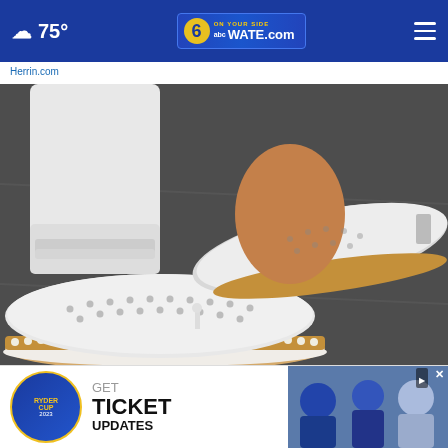☁ 75° | 6 abc WATE.com
Herrin.com
[Figure (photo): Close-up photo of a person wearing white perforated slip-on sneakers with tan/brown espadrille-style soles and white stitching, worn with white jeans rolled up at the ankle, standing on a dark surface.]
The Sneakers for Standing All Day Without Discomfort - Now...
Sursell
[Figure (infographic): Advertisement overlay: Ryder Cup logo on left with text 'GET TICKET UPDATES' and a photo of golf players on the right, with a close button (×) in the top right corner.]